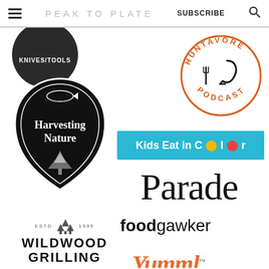PEAK TO PLATE  SUBSCRIBE
[Figure (logo): Dark circular badge partially cropped at top with text KNIVES/TOOLS]
[Figure (logo): Huntavore Podcast circular logo with orange text and fish hook/fork graphic]
[Figure (logo): Harvesting Nature arrowhead badge logo with fish and trees in black and white illustration style]
[Figure (logo): Kids Eat in Color logo on cyan/teal background with colorful dot replacing the O]
[Figure (logo): Parade magazine logo in large serif font]
[Figure (logo): foodgawker logo in bold sans-serif]
[Figure (logo): Wildwood Grilling logo with pine trees, ESTD 1995]
[Figure (logo): Yummly logo in orange italic script font, partially cropped at bottom, with TM mark]